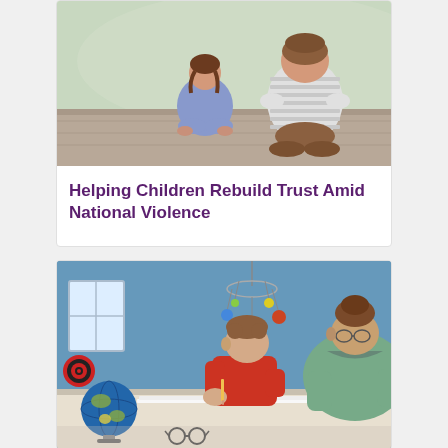[Figure (photo): Two children sitting on a wooden deck or bench, viewed from behind, with a blurred outdoor background]
Helping Children Rebuild Trust Amid National Violence
[Figure (photo): A woman with hair in a bun helping a young boy in a red shirt with schoolwork at a desk, with a globe, solar system mobile, and blue room decor visible]